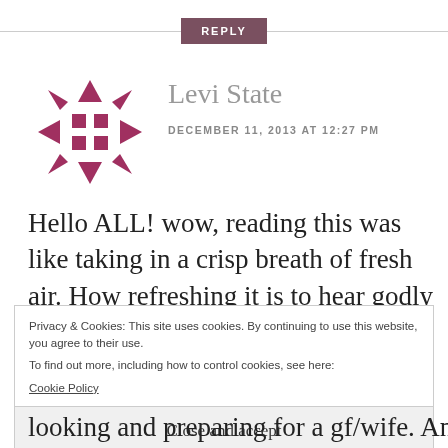REPLY
[Figure (logo): Decorative snowflake/geometric avatar icon in dark rose/maroon color]
Levi State
DECEMBER 11, 2013 AT 12:27 PM
Hello ALL! wow, reading this was like taking in a crisp breath of fresh air. How refreshing it is to hear godly men express their thoughts on modesty.
Privacy & Cookies: This site uses cookies. By continuing to use this website, you agree to their use.
To find out more, including how to control cookies, see here:
Cookie Policy
Close and accept
looking and preparing for a gf/wife. And